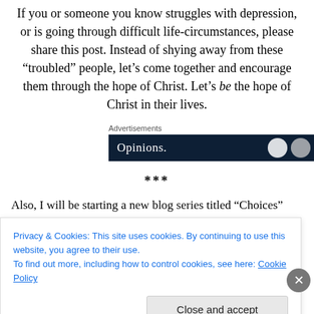If you or someone you know struggles with depression, or is going through difficult life-circumstances, please share this post. Instead of shying away from these “troubled” people, let’s come together and encourage them through the hope of Christ. Let’s be the hope of Christ in their lives.
Advertisements
[Figure (screenshot): Dark navy advertisement banner showing the word 'Opinions.' in white serif font with two circular icons on the right.]
***
Also, I will be starting a new blog series titled “Choices”
Privacy & Cookies: This site uses cookies. By continuing to use this website, you agree to their use.
To find out more, including how to control cookies, see here: Cookie Policy
Close and accept